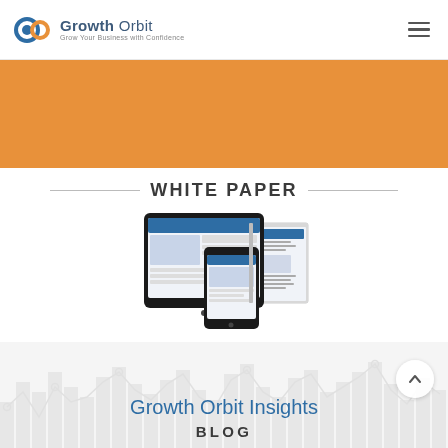Growth Orbit | Grow Your Business with Confidence
[Figure (other): Orange banner / hero section background]
WHITE PAPER
[Figure (photo): Mockup showing white paper document displayed on tablet, smartphone, and printed booklet]
[Figure (infographic): Background chart/graph graphic (light gray bar and line chart) behind Growth Orbit Insights blog section]
Growth Orbit Insights
BLOG